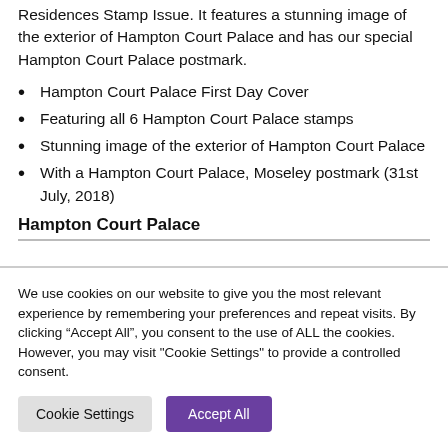Residences Stamp Issue. It features a stunning image of the exterior of Hampton Court Palace and has our special Hampton Court Palace postmark.
Hampton Court Palace First Day Cover
Featuring all 6 Hampton Court Palace stamps
Stunning image of the exterior of Hampton Court Palace
With a Hampton Court Palace, Moseley postmark (31st July, 2018)
Hampton Court Palace
We use cookies on our website to give you the most relevant experience by remembering your preferences and repeat visits. By clicking “Accept All”, you consent to the use of ALL the cookies. However, you may visit "Cookie Settings" to provide a controlled consent.